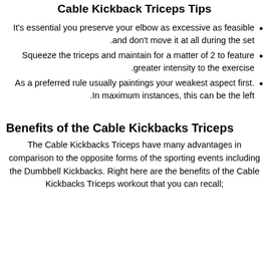Cable Kickback Triceps Tips
It's essential you preserve your elbow as excessive as feasible and don't move it at all during the set.
Squeeze the triceps and maintain for a matter of 2 to feature greater intensity to the exercise.
As a preferred rule usually paintings your weakest aspect first. In maximum instances, this can be the left.
Benefits of the Cable Kickbacks Triceps
The Cable Kickbacks Triceps have many advantages in comparison to the opposite forms of the sporting events including the Dumbbell Kickbacks. Right here are the benefits of the Cable Kickbacks Triceps workout that you can recall;